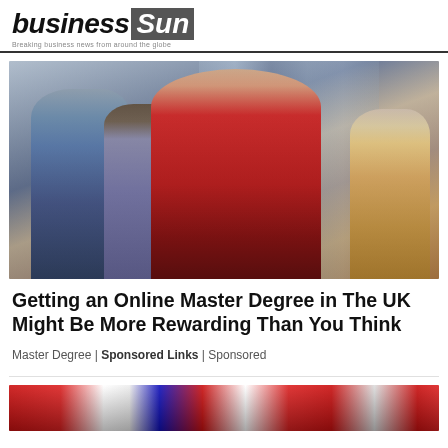business Sun — Breaking business news from around the globe
[Figure (photo): Photo of diverse group of people seated, with a woman in a red sweater in the foreground looking at a tablet device]
Getting an Online Master Degree in The UK Might Be More Rewarding Than You Think
Master Degree | Sponsored Links | Sponsored
[Figure (photo): Partial photo at bottom of page showing flags or colorful background]